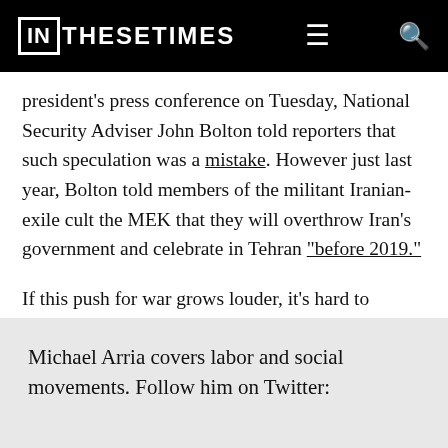IN THESE TIMES
president's press conference on Tuesday, National Security Adviser John Bolton told reporters that such speculation was a mistake. However just last year, Bolton told members of the militant Iranian-exile cult the MEK that they will overthrow Iran’s government and celebrate in Tehran “before 2019.”
If this push for war grows louder, it’s hard to envision Democrats doing much resisting.
Michael Arria covers labor and social movements. Follow him on Twitter: